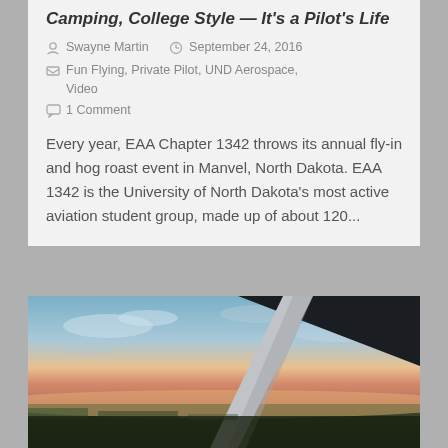Camping, College Style — It's a Pilot's Life
Swayne Martin   September 24, 2016
Fun Flying, Private Pilot, UND Aerospace, Video
1 Comment
Every year, EAA Chapter 1342 throws its annual fly-in and hog roast event in Manvel, North Dakota. EAA 1342 is the University of North Dakota's most active aviation student group, made up of about 120...
[Figure (photo): Aerial photo taken from inside a small aircraft at sunset, showing the wing strut and propeller in the foreground, with a wide flat landscape below and a colorful sky with clouds above the horizon.]